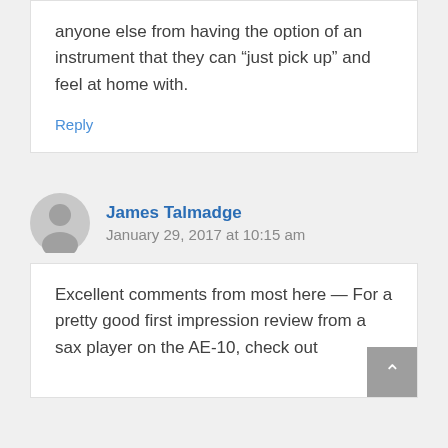anyone else from having the option of an instrument that they can “just pick up” and feel at home with.
Reply
James Talmadge
January 29, 2017 at 10:15 am
Excellent comments from most here — For a pretty good first impression review from a sax player on the AE-10, check out